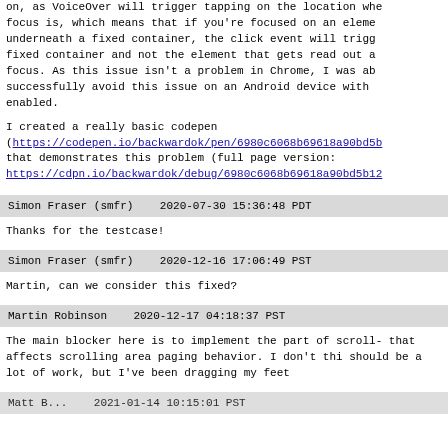on, as VoiceOver will trigger tapping on the location where focus is, which means that if you're focused on an element underneath a fixed container, the click event will trigger fixed container and not the element that gets read out as focus. As this issue isn't a problem in Chrome, I was able successfully avoid this issue on an Android device with T enabled.
I created a really basic codepen (https://codepen.io/backwardok/pen/6980c6068b69618a90bd5b that demonstrates this problem (full page version: https://cdpn.io/backwardok/debug/6980c6068b69618a90bd5b12
Simon Fraser (smfr)    2020-07-30 15:36:48 PDT
Thanks for the testcase!
Simon Fraser (smfr)    2020-12-16 17:06:49 PST
Martin, can we consider this fixed?
Martin Robinson    2020-12-17 04:18:37 PST
The main blocker here is to implement the part of scroll- that affects scrolling area paging behavior. I don't thin should be a lot of work, but I've been dragging my feet a
Matt B...    2021-01-14 10:15:01 PST